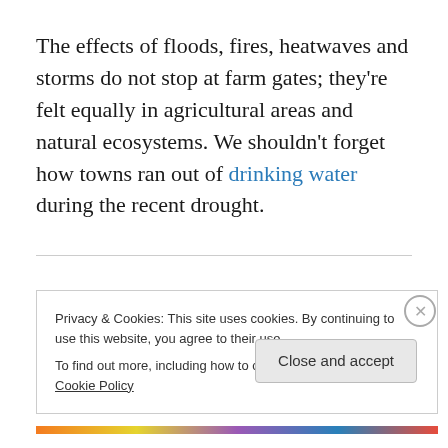The effects of floods, fires, heatwaves and storms do not stop at farm gates; they're felt equally in agricultural areas and natural ecosystems. We shouldn't forget how towns ran out of drinking water during the recent drought.
Privacy & Cookies: This site uses cookies. By continuing to use this website, you agree to their use. To find out more, including how to control cookies, see here: Cookie Policy
Close and accept